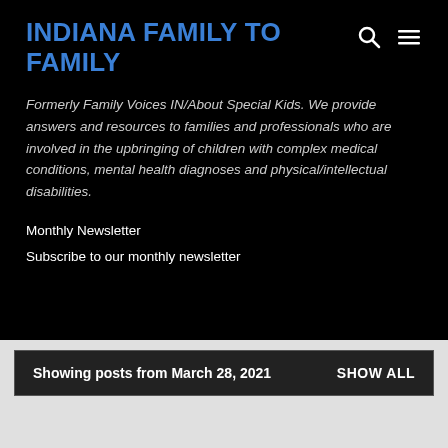INDIANA FAMILY TO FAMILY
Formerly Family Voices IN/About Special Kids. We provide answers and resources to families and professionals who are involved in the upbringing of children with complex medical conditions, mental health diagnoses and physical/intellectual disabilities.
Monthly Newsletter
Subscribe to our monthly newsletter
Showing posts from March 28, 2021
SHOW ALL